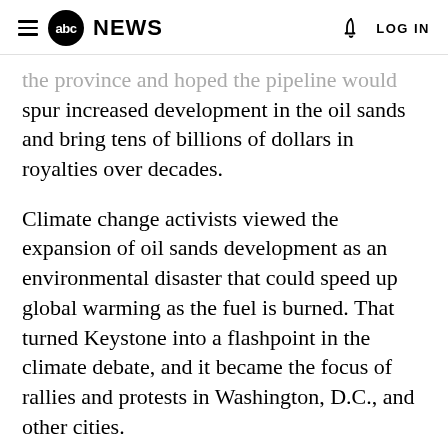abc NEWS  LOG IN
the province and hoped the pipeline would spur increased development in the oil sands and bring tens of billions of dollars in royalties over decades.
Climate change activists viewed the expansion of oil sands development as an environmental disaster that could speed up global warming as the fuel is burned. That turned Keystone into a flashpoint in the climate debate, and it became the focus of rallies and protests in Washington, D.C., and other cities.